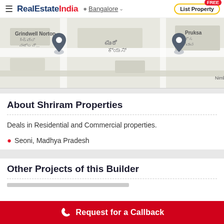RealEstateIndia — Bangalore — List Property (FREE)
[Figure (map): Google Maps view showing Grindwell Norton and Pruksa locations near Nimbekaipura Rd, Bangalore with map pins]
About Shriram Properties
Deals in Residential and Commercial properties.
Seoni, Madhya Pradesh
Other Projects of this Builder
Request for a Callback